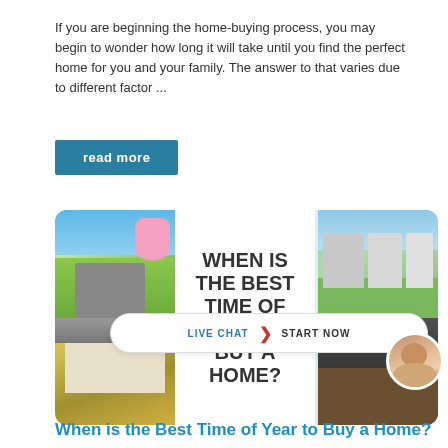If you are beginning the home-buying process, you may begin to wonder how long it will take until you find the perfect home for you and your family. The answer to that varies due to different factor ...
read more
[Figure (infographic): Article card with house photos on left and right, center text reading 'WHEN IS THE BEST TIME OF YEAR TO BUY A HOME?', and a live chat bar at the bottom with a woman avatar.]
When is the Best Time of Year to Buy a Home?